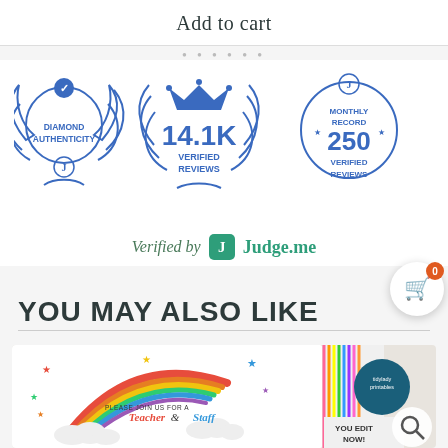Add to cart
[Figure (logo): Three Judge.me review badges: Diamond Authenticity badge with wreath, 14.1K Verified Reviews badge with crown, and Monthly Record 250 Verified Reviews badge]
Verified by Judge.me
YOU MAY ALSO LIKE
[Figure (photo): Product image showing a rainbow-themed Teacher & Staff party invitation card with colorful stars and text reading PLEASE JOIN US FOR A Teacher & Staff. A side panel shows a striped pattern and a circular tidylady printables logo. A You Edit Now! button and search icon are visible.]